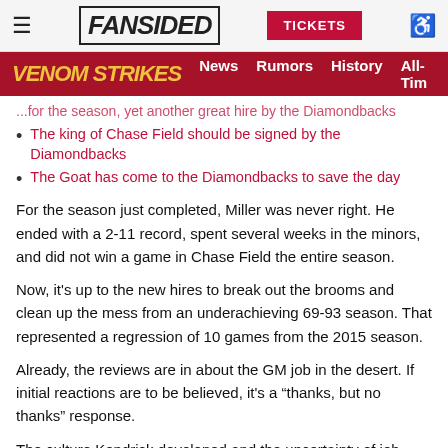FANSIDED | TICKETS
VENOM STRIKES | News | Rumors | History | All-Tim
...for the season, yet another great hire by the Diamondbacks
The king of Chase Field should be signed by the Diamondbacks
The Goat has come to the Diamondbacks to save the day
For the season just completed, Miller was never right. He ended with a 2-11 record, spent several weeks in the minors, and did not win a game in Chase Field the entire season.
Now, it's up to the new hires to break out the brooms and clean up the mess from an underachieving 69-93 season. That represented a regression of 10 games from the 2015 season.
Already, the reviews are in about the GM job in the desert. If initial reactions are to be believed, it's a “thanks, but no thanks” response.
The culture Kendrick developed and the uncertainty of job security appear influential. After a short period of time, no rising executive